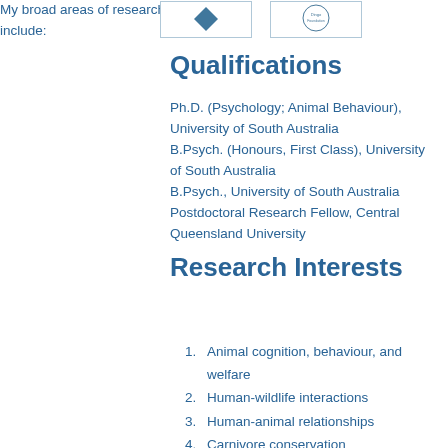[Figure (logo): Two logos at top of page: a blue heart/chevron logo on the left and a circular Dingo Foundation logo on the right, both in bordered boxes]
Qualifications
Ph.D. (Psychology; Animal Behaviour), University of South Australia
B.Psych. (Honours, First Class), University of South Australia
B.Psych., University of South Australia
Postdoctoral Research Fellow, Central Queensland University
Research Interests
My broad areas of research interests include:
Animal cognition, behaviour, and welfare
Human-wildlife interactions
Human-animal relationships
Carnivore conservation
Non-lethal management of carnivores
Dingoes (Canis dingo)